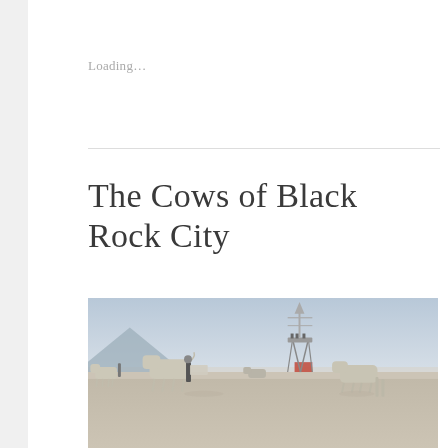Loading…
The Cows of Black Rock City
[Figure (photo): Outdoor desert scene at dusk showing large cow sculptures on a flat playa (Black Rock City / Burning Man). A central lattice tower structure stands in the background. Human figures stand near the cow sculptures. The sky is hazy and pale blue, mountains visible at the left horizon.]